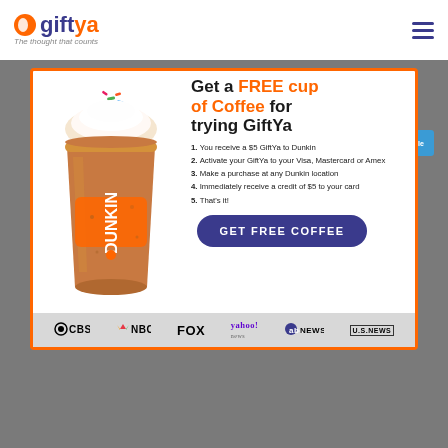[Figure (logo): GiftYa logo with orange circle icon, 'gift' in dark purple and 'ya' in orange, tagline 'The thought that counts']
[Figure (infographic): GiftYa promotional ad: Dunkin coffee cup with sprinkles and whipped cream, headline 'Get a FREE cup of Coffee for trying GiftYa', list of 5 steps, 'GET FREE COFFEE' button, media logos bar with CBS, NBC, FOX, Yahoo! News, abcNEWS, US.NEWS]
Get a FREE cup of Coffee for trying GiftYa
You receive a $5 GiftYa to Dunkin
Activate your GiftYa to your Visa, Mastercard or Amex
Make a purchase at any Dunkin location
Immediately receive a credit of $5 to your card
That's it!